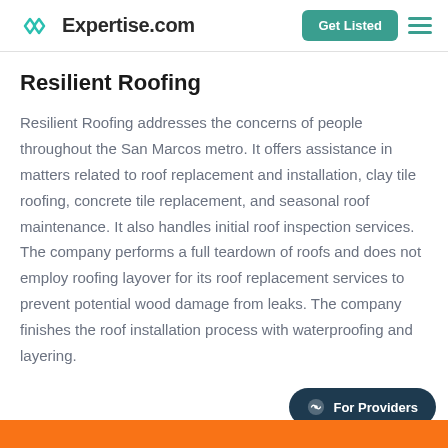Expertise.com
Resilient Roofing
Resilient Roofing addresses the concerns of people throughout the San Marcos metro. It offers assistance in matters related to roof replacement and installation, clay tile roofing, concrete tile replacement, and seasonal roof maintenance. It also handles initial roof inspection services. The company performs a full teardown of roofs and does not employ roofing layover for its roof replacement services to prevent potential wood damage from leaks. The company finishes the roof installation process with waterproofing and layering.